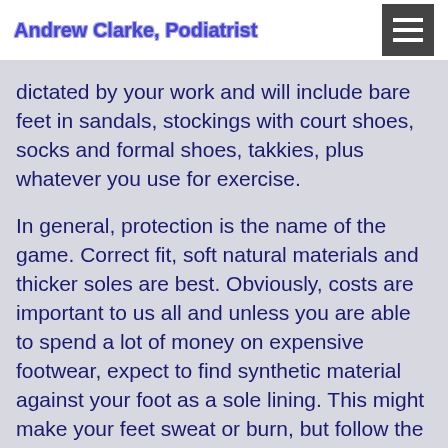Andrew Clarke, Podiatrist
dictated by your work and will include bare feet in sandals, stockings with court shoes, socks and formal shoes, takkies, plus whatever you use for exercise.
In general, protection is the name of the game. Correct fit, soft natural materials and thicker soles are best. Obviously, costs are important to us all and unless you are able to spend a lot of money on expensive footwear, expect to find synthetic material against your foot as a sole lining. This might make your feet sweat or burn, but follow the hygiene routine and you should avoid problems.
As temperatures rise, we generally